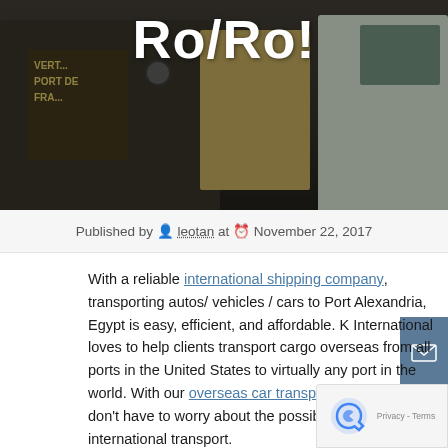[Figure (photo): Hero photo showing trucks and port vehicles with overlaid title 'Ro/Ro!' in white bold text]
Published by leotan at November 22, 2017
With a reliable international shipping company, transporting autos/ vehicles / cars to Port Alexandria, Egypt is easy, efficient, and affordable. K International loves to help clients transport cargo overseas from all ports in the United States to virtually any port in the world. With our overseas car transport services, clients don't have to worry about the possible obstacles of international transport.
K International can ship all types of autos, including:
Contemporary Cars
Luxury Vehicles
Automobiles in Bulk
Trucks